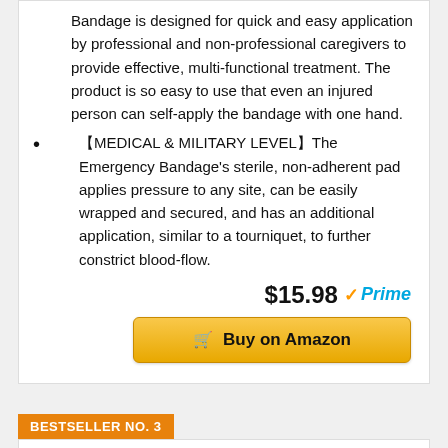Bandage is designed for quick and easy application by professional and non-professional caregivers to provide effective, multi-functional treatment. The product is so easy to use that even an injured person can self-apply the bandage with one hand.
【MEDICAL & MILITARY LEVEL】The Emergency Bandage's sterile, non-adherent pad applies pressure to any site, can be easily wrapped and secured, and has an additional application, similar to a tourniquet, to further constrict blood-flow.
$15.98 ✓Prime
Buy on Amazon
BESTSELLER NO. 3
[Figure (photo): Product image partially visible at bottom of page]